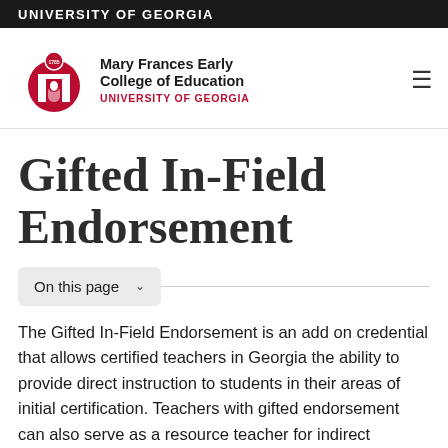UNIVERSITY OF GEORGIA
[Figure (logo): Mary Frances Early College of Education, University of Georgia logo with arch icon]
Gifted In-Field Endorsement
On this page
The Gifted In-Field Endorsement is an add on credential that allows certified teachers in Georgia the ability to provide direct instruction to students in their areas of initial certification. Teachers with gifted endorsement can also serve as a resource teacher for indirect services for